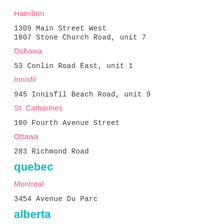Hamilton
1309 Main Street West
1807 Stone Church Road, unit 7
Oshawa
53 Conlin Road East, unit 1
Innisfil
945 Innisfil Beach Road, unit 9
St. Catharines
100 Fourth Avenue Street
Ottawa
283 Richmond Road
quebec
Montreal
3454 Avenue Du Parc
alberta